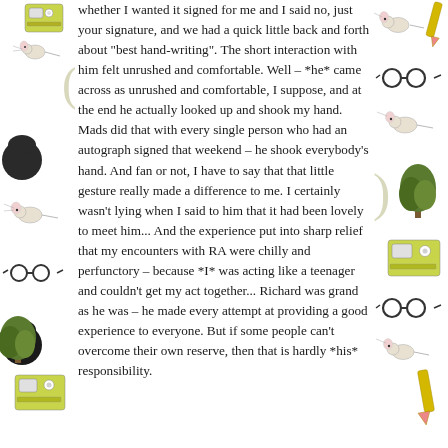[Figure (illustration): Decorative border illustrations on left and right sides featuring drawings of mice/rats, glasses, trees, radios/boomboxes, and parenthesis marks in green, yellow, and black tones]
whether I wanted it signed for me and I said no, just your signature, and we had a quick little back and forth about "best hand-writing". The short interaction with him felt unrushed and comfortable. Well – *he* came across as unrushed and comfortable, I suppose, and at the end he actually looked up and shook my hand. Mads did that with every single person who had an autograph signed that weekend – he shook everybody's hand. And fan or not, I have to say that that little gesture really made a difference to me. I certainly wasn't lying when I said to him that it had been lovely to meet him... And the experience put into sharp relief that my encounters with RA were chilly and perfunctory – because *I* was acting like a teenager and couldn't get my act together... Richard was grand as he was – he made every attempt at providing a good experience to everyone. But if some people can't overcome their own reserve, then that is hardly *his* responsibility.